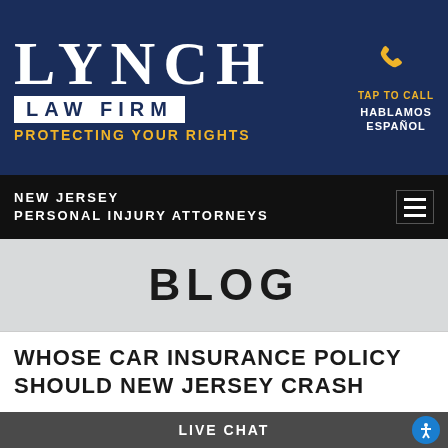[Figure (logo): Lynch Law Firm logo on dark navy background with phone icon and 'TAP TO CALL / HABLAMOS ESPAÑOL' text]
NEW JERSEY PERSONAL INJURY ATTORNEYS
BLOG
WHOSE CAR INSURANCE POLICY SHOULD NEW JERSEY CRASH
LIVE CHAT